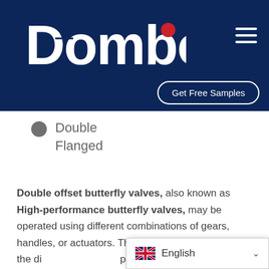[Figure (logo): Dombor company logo in white on dark navy background with red dot accent]
[Figure (other): Hamburger menu icon (three horizontal lines) in white on dark navy background]
Get Free Samples
Double Flanged
Double offset butterfly valves, also known as High-performance butterfly valves, may be operated using different combinations of gears, handles, or actuators. They formulate by moving the di... position leading...
English